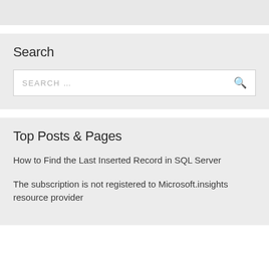Search
[Figure (screenshot): Search input box with placeholder text SEARCH... and a magnifying glass icon]
Top Posts & Pages
How to Find the Last Inserted Record in SQL Server
The subscription is not registered to Microsoft.insights resource provider